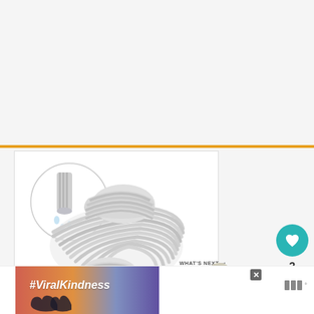[Figure (photo): Product photo of white elastic rope/cord coiled in a bundle, with a circular inset showing a close-up of the rope end with a metal tip. Orange border frame at top.]
[Figure (infographic): Heart/like button (teal circle with heart icon), like count '3', and share button (white circle with share icon)]
WHAT'S NEXT → How And When To...
[Figure (photo): Small circular thumbnail of a plant/bonsai tree for 'What's Next' section]
[Figure (infographic): Advertisement banner with #ViralKindness text over sunset/heart hands background, with close button and logo]